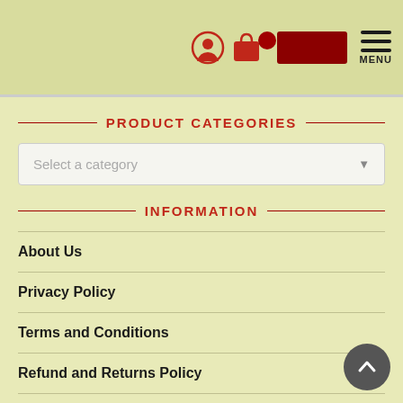Navigation header with icons (user, cart, menu)
PRODUCT CATEGORIES
Select a category
INFORMATION
About Us
Privacy Policy
Terms and Conditions
Refund and Returns Policy
FAQs Page
Contact Us